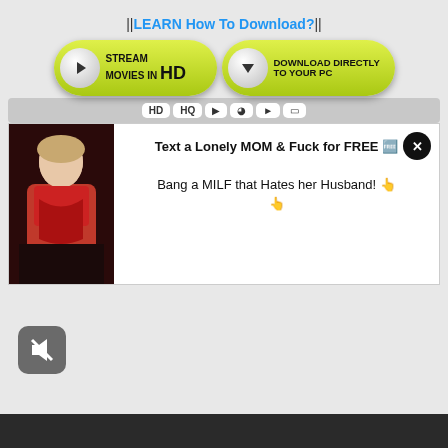||LEARN How To Download?||
[Figure (screenshot): Two yellow-green pill-shaped buttons: 'STREAM MOVIES IN HD' with play icon, and 'DOWNLOAD DIRECTLY TO YOUR PC' with download icon]
[Figure (screenshot): Icon bar with HD, HQ, play, search, arrow, and tablet icons]
[Figure (infographic): Ad popup with photo of woman in red dress on left, text 'Text a Lonely MOM & Fuck for FREE' and 'Bang a MILF that Hates her Husband!' on right, with X close button]
[Figure (screenshot): Muted speaker icon button (gray rounded square with speaker crossed out)]
[Figure (screenshot): Dark gray bar at bottom of page]